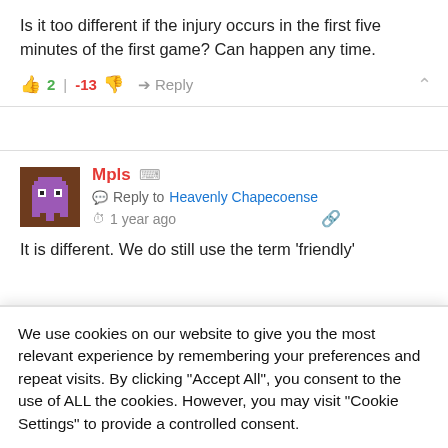Is it too different if the injury occurs in the first five minutes of the first game? Can happen any time.
2 | -13  Reply
Mpls  Reply to Heavenly Chapecoense  1 year ago
It is different. We do still use the term 'friendly'
We use cookies on our website to give you the most relevant experience by remembering your preferences and repeat visits. By clicking "Accept All", you consent to the use of ALL the cookies. However, you may visit "Cookie Settings" to provide a controlled consent.